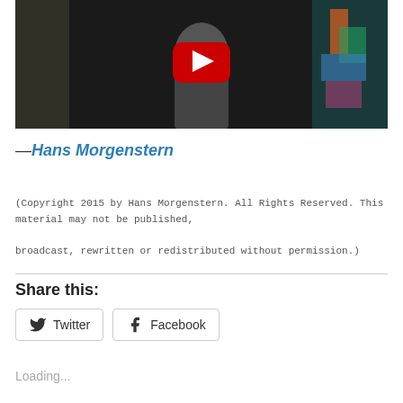[Figure (screenshot): YouTube video thumbnail showing a person near graffiti wall with a YouTube play button overlay]
—Hans Morgenstern
(Copyright 2015 by Hans Morgenstern. All Rights Reserved. This material may not be published, broadcast, rewritten or redistributed without permission.)
Share this:
Twitter  Facebook
Loading...